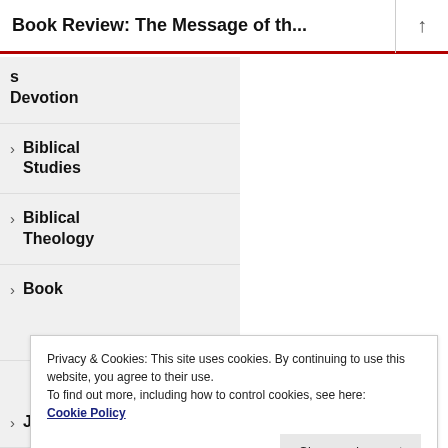Book Review: The Message of th...
s Devotion
Biblical Studies
Biblical Theology
Book
Privacy & Cookies: This site uses cookies. By continuing to use this website, you agree to their use.
To find out more, including how to control cookies, see here:
Cookie Policy
Jesus